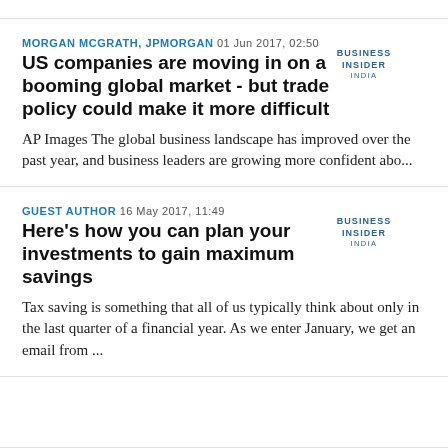MORGAN MCGRATH, JPMORGAN 01 Jun 2017, 02:50
US companies are moving in on a booming global market - but trade policy could make it more difficult
AP Images The global business landscape has improved over the past year, and business leaders are growing more confident abo...
GUEST AUTHOR 16 May 2017, 11:49
Here's how you can plan your investments to gain maximum savings
Tax saving is something that all of us typically think about only in the last quarter of a financial year. As we enter January, we get an email from ...